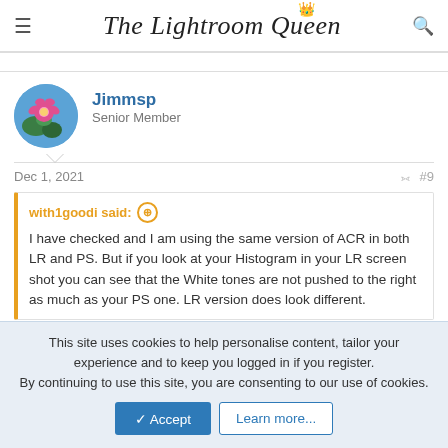The Lightroom Queen
Jimmsp
Senior Member
Dec 1, 2021  #9
with1goodi said: ⊕

I have checked and I am using the same version of ACR in both LR and PS. But if you look at your Histogram in your LR screen shot you can see that the White tones are not pushed to the right as much as your PS one. LR version does look different.
I will admit that I don't look at the histograms very closely. I generally
This site uses cookies to help personalise content, tailor your experience and to keep you logged in if you register.
By continuing to use this site, you are consenting to our use of cookies.